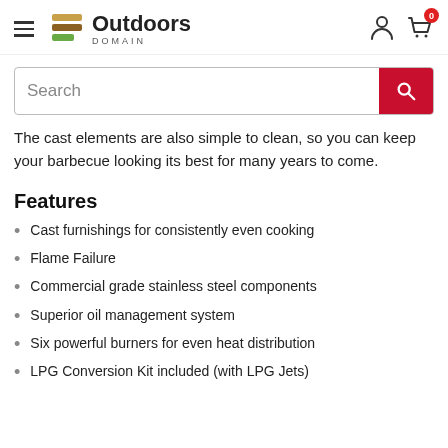Outdoors Domain
The cast elements are also simple to clean, so you can keep your barbecue looking its best for many years to come.
Features
Cast furnishings for consistently even cooking
Flame Failure
Commercial grade stainless steel components
Superior oil management system
Six powerful burners for even heat distribution
LPG Conversion Kit included (with LPG Jets)